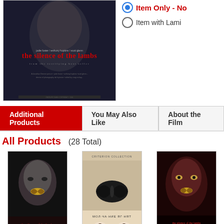[Figure (photo): The Silence of the Lambs movie poster - main image showing cast credits and title in red text on dark background]
Item Only - No (radio button selected)
Item with Lami... (radio button)
Additional Products | You May Also Like | About the Film (tabs)
All Products  (28 Total)
[Figure (photo): 11 x 17 Movie Poster - Style A - Silence of the Lambs with face and moth]
11 x 17 Movie Poster -
Style A
[Figure (photo): 11 x 17 Movie Poster - Russian Style A - tan/sepia with butterfly]
11 x 17 Movie Poster -
Russian Style A
[Figure (photo): 11 x 17 Movie Poster - Style B - red toned with face and moth]
11 x 17 Movie Po...
Style B